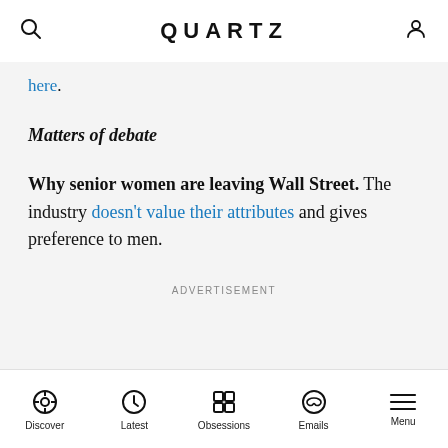QUARTZ
here.
Matters of debate
Why senior women are leaving Wall Street. The industry doesn't value their attributes and gives preference to men.
ADVERTISEMENT
Discover  Latest  Obsessions  Emails  Menu